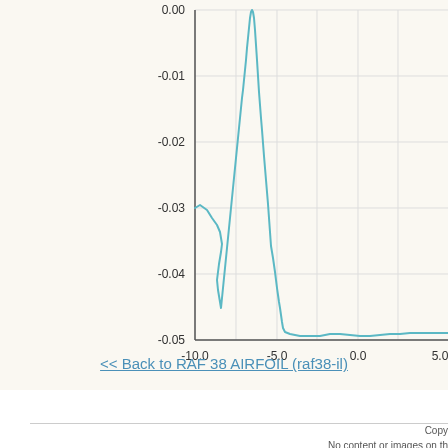[Figure (continuous-plot): Partial line chart showing aerodynamic coefficient vs angle of attack for RAF 38 airfoil. Y-axis ranges from -0.05 to 0.00, x-axis shows values from -10.0 to 5.0. The teal/cyan curve shows a complex shape with a peak near 0.00 at x≈-2.5, a dip to about -0.034 at x≈-8, and decreasing values toward -0.04 at positive x values.]
<< Back to RAF 38 AIRFOIL (raf38-il)
Copy
No content or images on th